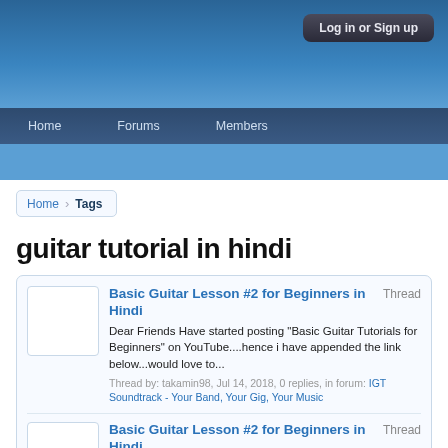Log in or Sign up
Home  Forums  Members
Home > Tags
guitar tutorial in hindi
Basic Guitar Lesson #2 for Beginners in Hindi  Thread
Dear Friends Have started posting "Basic Guitar Tutorials for Beginners" on YouTube....hence i have appended the link below...would love to...
Thread by: takamin98, Jul 14, 2018, 0 replies, in forum: IGT Soundtrack - Your Band, Your Gig, Your Music
Basic Guitar Lesson #2 for Beginners in Hindi  Thread
Dear Friends Have started posting "Basic Guitar Tutorials for Beginners" on YouTube....hence i have appended the link below...would love to...
Thread by: takamin98, Jul 14, 2018, 0 replies, in forum: Find a Guitar Teacher or Classes